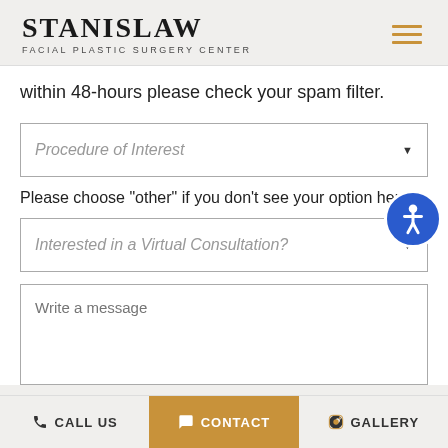STANISLAW FACIAL PLASTIC SURGERY CENTER
within 48-hours please check your spam filter.
Procedure of Interest
Please choose "other" if you don't see your option here.
Interested in a Virtual Consultation?
Write a message
CALL US  CONTACT  GALLERY